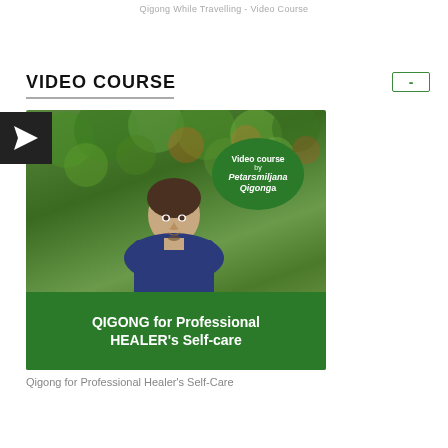Qigong While Travelling - Video Course
VIDEO COURSE
[Figure (illustration): Promotional image for a Qigong video course. Shows a man standing outdoors in front of trees/forest. Upper right has a green oval badge reading 'Video course by PetarSmiljana Qigonga'. Bottom has a dark green banner with text 'QIGONG for Professional HEALER's Self-care'. Left edge has a dark square with a paper-plane/send icon.]
Qigong for Professional Healer's Self-Care